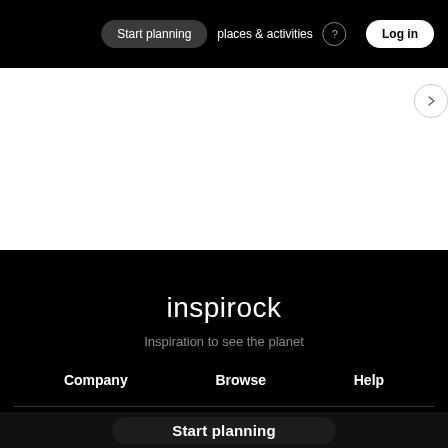Start planning  places & activities  Log in
[Figure (screenshot): White area section of a website page]
inspirock
Inspiration to see the planet
Company   Browse   Help
Start planning